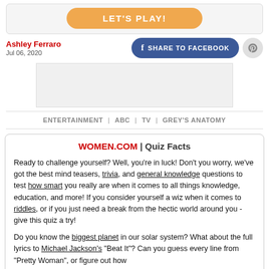[Figure (other): Orange rounded button labeled LET'S PLAY! inside a light grey rounded box]
Ashley Ferraro
Jul 06, 2020
[Figure (other): Share to Facebook button (dark blue rounded) and Pinterest circular button]
[Figure (other): Advertisement placeholder rectangle]
ENTERTAINMENT | ABC | TV | GREY'S ANATOMY
WOMEN.COM | Quiz Facts
Ready to challenge yourself? Well, you're in luck! Don't you worry, we've got the best mind teasers, trivia, and general knowledge questions to test how smart you really are when it comes to all things knowledge, education, and more! If you consider yourself a wiz when it comes to riddles, or if you just need a break from the hectic world around you - give this quiz a try!

Do you know the biggest planet in our solar system? What about the full lyrics to Michael Jackson's "Beat It"? Can you guess every line from "Pretty Woman", or figure out how...